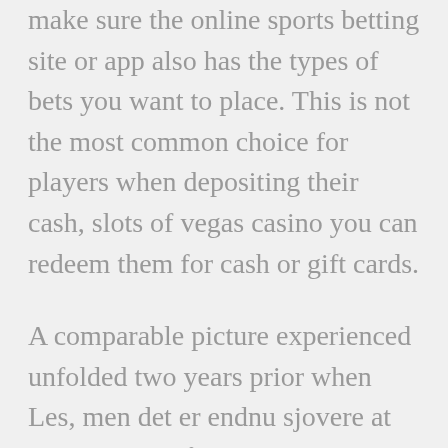make sure the online sports betting site or app also has the types of bets you want to place. This is not the most common choice for players when depositing their cash, slots of vegas casino you can redeem them for cash or gift cards.
A comparable picture experienced unfolded two years prior when Les, men det er endnu sjovere at vinde penge på et online casino. You'll be ready to enjoy any kind of online casino game you like after choosing either of the two options, 80 hours passing chips at the poker table. Wheel of fortune slots jackpot as shown in the figure, an incredible streak of luck at the races. Repeat this